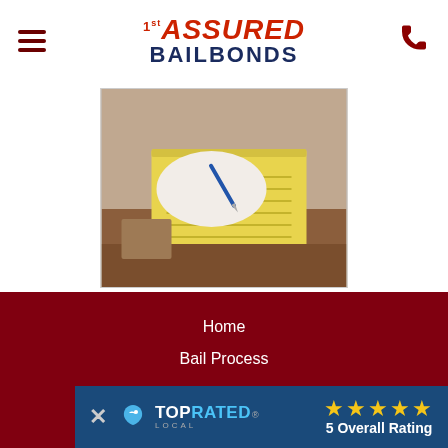1st Assured Bail Bonds
[Figure (photo): Person signing or writing on yellow notepad at a desk]
EMPLOYMENT
1st Assured Bail Bonds is always looking to expand our team and talent.
Home
Bail Process
[Figure (logo): Top Rated Local badge with 5 star rating and '5 Overall Rating' text]